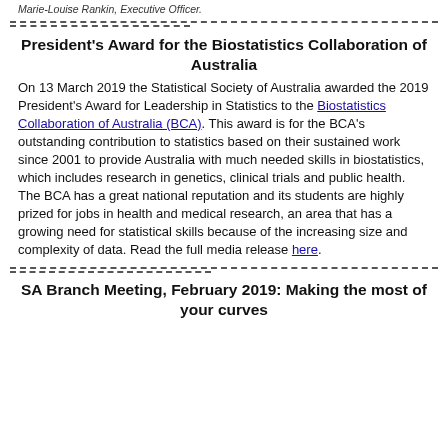Marie-Louise Rankin, Executive Officer.
President's Award for the Biostatistics Collaboration of Australia
On 13 March 2019 the Statistical Society of Australia awarded the 2019 President's Award for Leadership in Statistics to the Biostatistics Collaboration of Australia (BCA). This award is for the BCA's outstanding contribution to statistics based on their sustained work since 2001 to provide Australia with much needed skills in biostatistics, which includes research in genetics, clinical trials and public health. The BCA has a great national reputation and its students are highly prized for jobs in health and medical research, an area that has a growing need for statistical skills because of the increasing size and complexity of data. Read the full media release here.
SA Branch Meeting, February 2019: Making the most of your curves